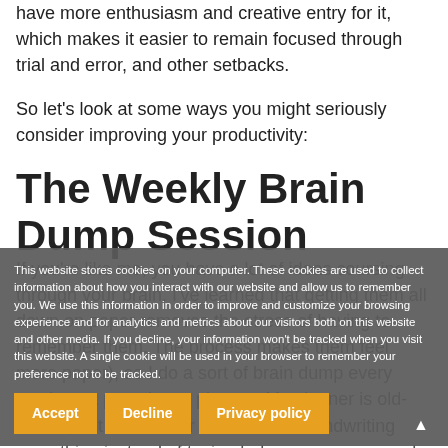have more enthusiasm and creative entry for it, which makes it easier to remain focused through trial and error, and other setbacks.
So let's look at some ways you might seriously consider improving your productivity:
The Weekly Brain Dump Session
If you're like me, you have a lot of ideas coursing through your brain. I've learned that getting them all down on paper removes the stress of having to remember them. The process makes them feel more paper), so I do a sort of brain dump every week on a page in my planner. My planner is old-school, but it works for me because handwriting something instead of typing helps me process and sort my list.
This website stores cookies on your computer. These cookies are used to collect information about how you interact with our website and allow us to remember you. We use this information in order to improve and customize your browsing experience and for analytics and metrics about our visitors both on this website and other media. If you decline, your information won't be tracked when you visit this website. A single cookie will be used in your browser to remember your preference not to be tracked.